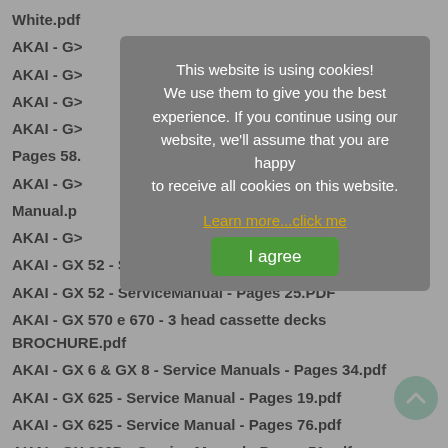White.pdf
AKAI - GX
AKAI - GX
AKAI - GX
AKAI - GX
Pages 58.
AKAI - GX
Manual.p
AKAI - GX
AKAI - GX 52 - Service Manual - Pages 35.pdf
AKAI - GX 52 - ServiceManual - Pages 25.PDF
AKAI - GX 570 e 670 - 3 head cassette decks BROCHURE.pdf
AKAI - GX 6 & GX 8 - Service Manuals - Pages 34.pdf
AKAI - GX 625 - Service Manual - Pages 19.pdf
AKAI - GX 625 - Service Manual - Pages 76.pdf
AKAI - GX 630D - Service Manual - Pages 51.pdf
AKAI - GX 630D - Service Manual.pdf
[Figure (screenshot): Cookie consent overlay popup with text: 'This website is using cookies! We use them to give you the best experience. If you continue using our website, we'll assume that you are happy to receive all cookies on this website.' with 'Learn more...click me' link and 'I agree' green button.]